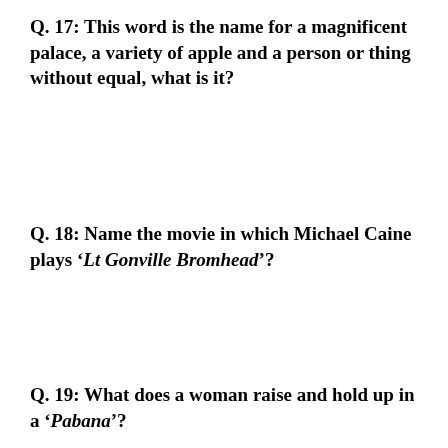Q. 17:  This word is the name for a magnificent palace, a variety of apple and a person or thing without equal, what is it?
Q. 18:  Name the movie in which Michael Caine plays ‘Lt Gonville Bromhead’?
Q. 19:  What does a woman raise and hold up in a ‘Pabana’?